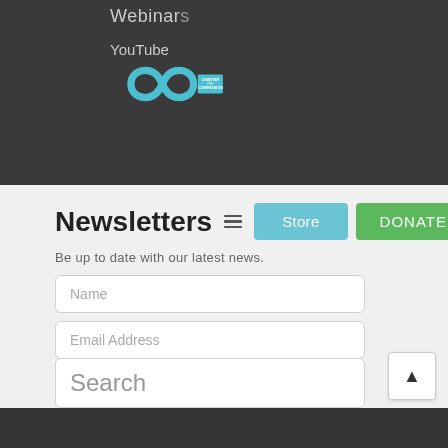Webinars
YouTube
[Figure (logo): Charter for Compassion logo with infinity symbol in teal and text reading CHARTER for COMPASSION]
Newsletters
Store
DONATE
Be up to date with our latest news.
Name
Email Address
Phone
Select Country
Search